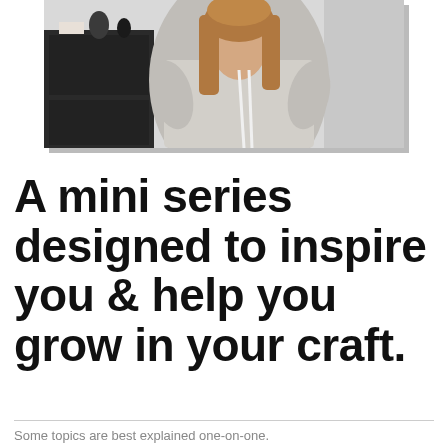[Figure (photo): A woman with long brown hair wearing a grey long-sleeve top, standing in front of a dark wooden cabinet with decorative items on top and a light grey wall background.]
A mini series designed to inspire you & help you grow in your craft.
Some topics are best explained one-on-one.